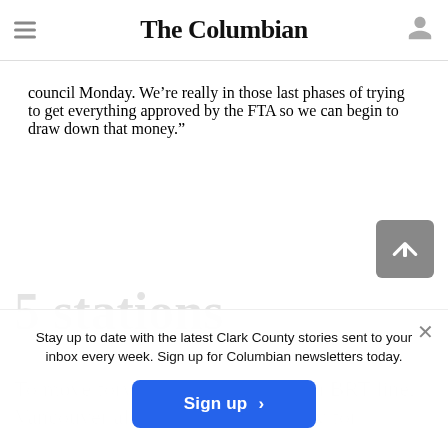The Columbian
council Monday. We're really in those last phases of trying to get everything approved by the FTA so we can begin to draw down that money.”
Stay up to date with the latest Clark County stories sent to your inbox every week. Sign up for Columbian newsletters today.